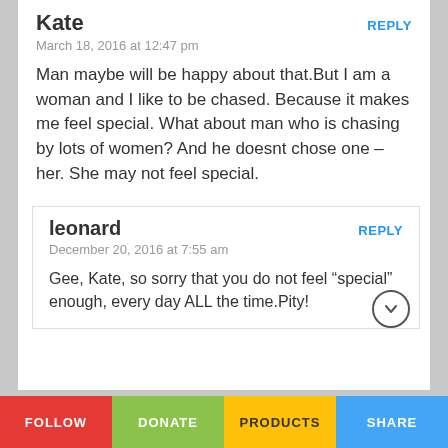Kate
March 18, 2016 at 12:47 pm
Man maybe will be happy about that.But I am a woman and I like to be chased. Because it makes me feel special. What about man who is chasing by lots of women? And he doesnt chose one – her. She may not feel special.
leonard
December 20, 2016 at 7:55 am
Gee, Kate, so sorry that you do not feel “special” enough, every day ALL the time.Pity!
FOLLOW | DONATE | PRODUCTS | SHARE